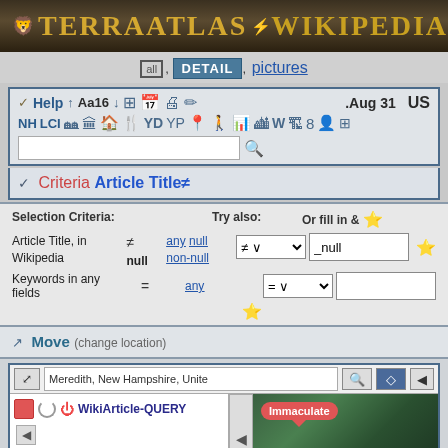TerraAtlas  Wikipedia
all, DETAIL, pictures
[Figure (screenshot): Toolbar with Help, Aa16, font/print/export icons, date .Aug 31, country US, then NH LCI and various map/data icons, with a search input box]
Criteria Article Title≠
| Selection Criteria: | Try also: | Or fill in & |
| --- | --- | --- |
| Article Title, in Wikipedia | ≠ null | any null non-null | ≠ ∨  _null |
| Keywords in any fields | = | any | =   |
Move (change location)
[Figure (screenshot): Map view showing Meredith, New Hampshire location with layer panel listing WikiArticle-QUERY, Hotels, Shops, satellite imagery with Immaculate callout bubble and blue badge showing 2]